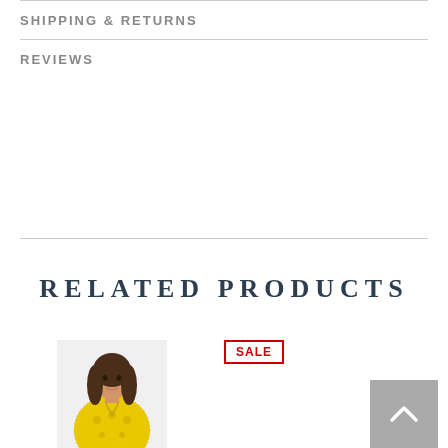SHIPPING & RETURNS
REVIEWS
RELATED PRODUCTS
[Figure (photo): Woman wearing a yellow lace blouse, shown from the waist up, with long brown hair]
SALE